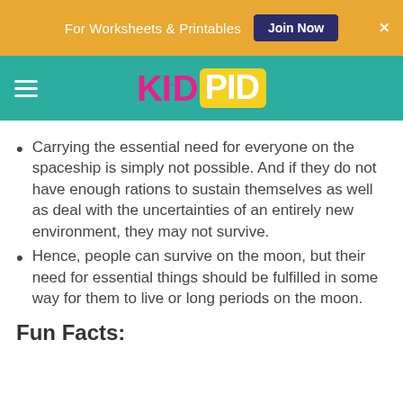For Worksheets & Printables  Join Now  ×
[Figure (logo): KidPid logo with KID in pink and PID in white on yellow background, on teal navbar with hamburger menu]
Carrying the essential need for everyone on the spaceship is simply not possible. And if they do not have enough rations to sustain themselves as well as deal with the uncertainties of an entirely new environment, they may not survive.
Hence, people can survive on the moon, but their need for essential things should be fulfilled in some way for them to live or long periods on the moon.
Fun Facts: